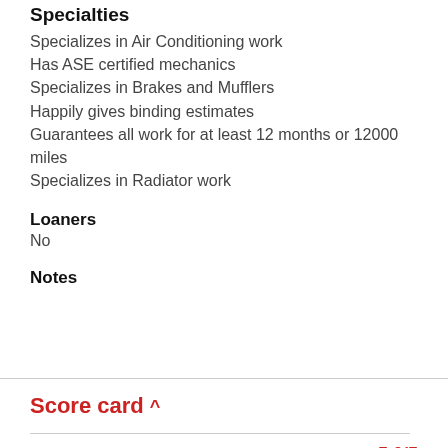Specialties
Specializes in Air Conditioning work
Has ASE certified mechanics
Specializes in Brakes and Mufflers
Happily gives binding estimates
Guarantees all work for at least 12 months or 12000 miles
Specializes in Radiator work
Loaners
No
Notes
Score card ^
They are always honest  5.0/5